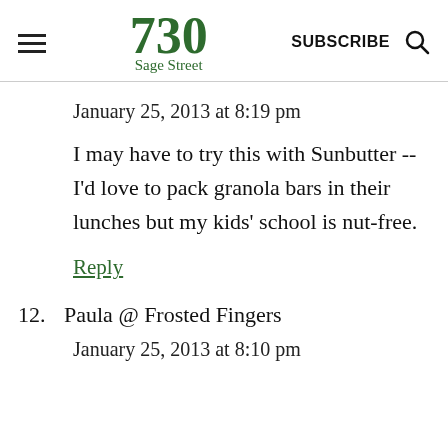730 Sage Street | SUBSCRIBE
January 25, 2013 at 8:19 pm
I may have to try this with Sunbutter -- I'd love to pack granola bars in their lunches but my kids' school is nut-free.
Reply
12. Paula @ Frosted Fingers
January 25, 2013 at 8:10 pm